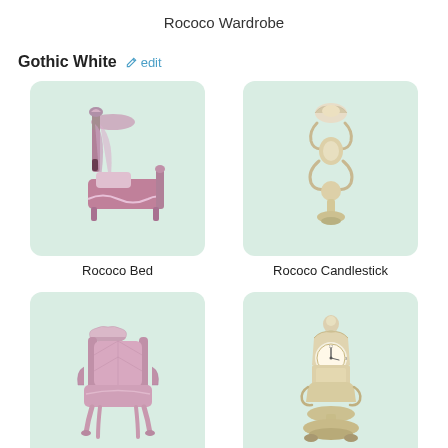Rococo Wardrobe
Gothic White  ✏ edit
[Figure (illustration): 3D render of a pink Rococo-style canopy bed with ornate carvings]
Rococo Bed
[Figure (illustration): 3D render of a white/cream Rococo-style ornate candlestick wall sconce]
Rococo Candlestick
[Figure (illustration): 3D render of a pink Rococo-style ornate armchair]
[Figure (illustration): 3D render of a white/cream Rococo-style ornate mantel clock on pedestal]